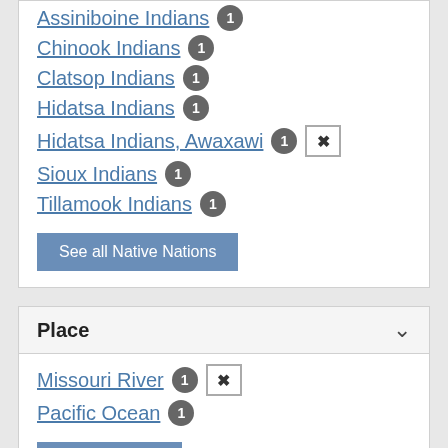Assiniboine Indians 1
Chinook Indians 1
Clatsop Indians 1
Hidatsa Indians 1
Hidatsa Indians, Awaxawi 1 [remove]
Sioux Indians 1
Tillamook Indians 1
See all Native Nations
Place
Missouri River 1 [remove]
Pacific Ocean 1
See all Places